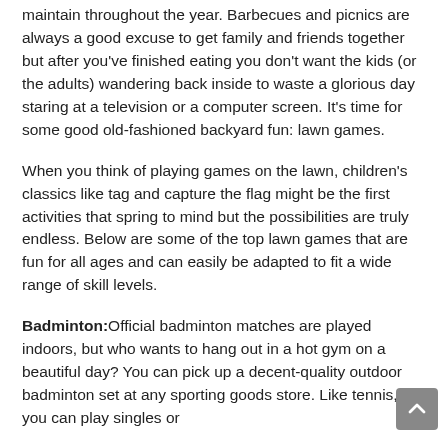maintain throughout the year. Barbecues and picnics are always a good excuse to get family and friends together but after you've finished eating you don't want the kids (or the adults) wandering back inside to waste a glorious day staring at a television or a computer screen. It's time for some good old-fashioned backyard fun: lawn games.
When you think of playing games on the lawn, children's classics like tag and capture the flag might be the first activities that spring to mind but the possibilities are truly endless. Below are some of the top lawn games that are fun for all ages and can easily be adapted to fit a wide range of skill levels.
Badminton:Official badminton matches are played indoors, but who wants to hang out in a hot gym on a beautiful day? You can pick up a decent-quality outdoor badminton set at any sporting goods store. Like tennis, you can play singles or